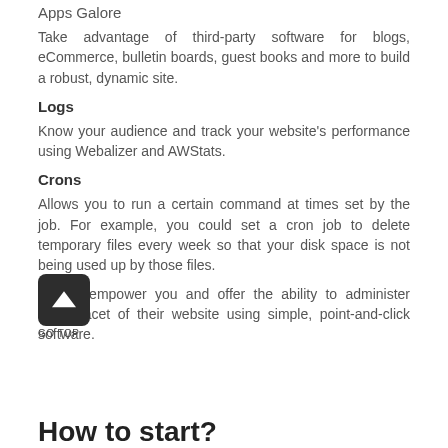Apps Galore
Take advantage of third-party software for blogs, eCommerce, bulletin boards, guest books and more to build a robust, dynamic site.
Logs
Know your audience and track your website's performance using Webalizer and AWStats.
Crons
Allows you to run a certain command at times set by the job. For example, you could set a cron job to delete temporary files every week so that your disk space is not being used up by those files.
cPanel empower you and offer the ability to administer every facet of their website using simple, point-and-click software.
How to start?